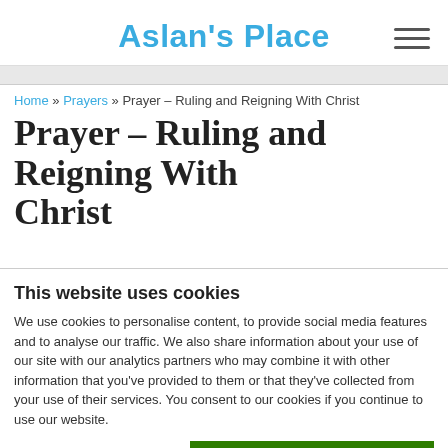Aslan's Place
Home » Prayers » Prayer – Ruling and Reigning With Christ
Prayer – Ruling and Reigning With Christ
This website uses cookies
We use cookies to personalise content, to provide social media features and to analyse our traffic. We also share information about your use of our site with our analytics partners who may combine it with other information that you've provided to them or that they've collected from your use of their services. You consent to our cookies if you continue to use our website.
OK
Necessary   Preferences   Statistics   Marketing   Show details